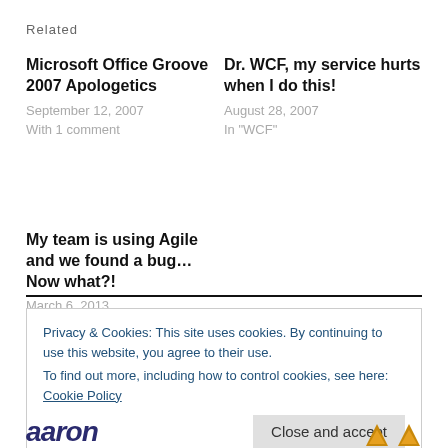Related
Microsoft Office Groove 2007 Apologetics
September 12, 2007
With 1 comment
Dr. WCF, my service hurts when I do this!
August 28, 2007
In "WCF"
My team is using Agile and we found a bug… Now what?!
March 6, 2013
In "Agile"
Privacy & Cookies: This site uses cookies. By continuing to use this website, you agree to their use.
To find out more, including how to control cookies, see here: Cookie Policy
Close and accept
aaron